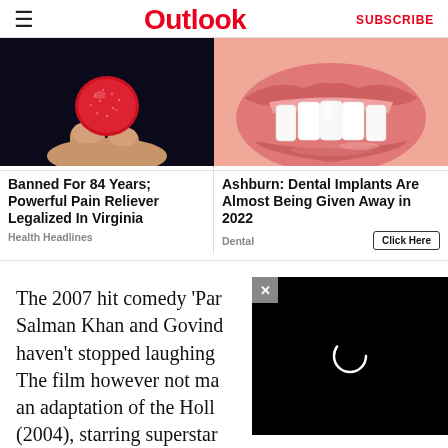Outlook
[Figure (photo): Close-up of a hand holding a round red sugary candy/gummy against a dark background]
[Figure (photo): Close-up of a person's mouth showing bright white teeth and glossy lips]
Banned For 84 Years; Powerful Pain Reliever Legalized In Virginia
Ashburn: Dental Implants Are Almost Being Given Away in 2022
Health Headlines
Dental
Click Here
The 2007 hit comedy 'Par... Salman Khan and Govind... haven't stopped laughing... The film however not ma... an adaptation of the Holl... (2004), starring superstar actor Will Smith...